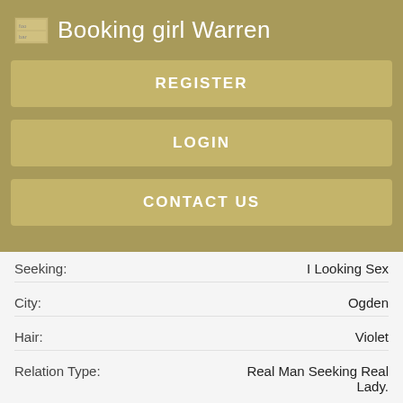Booking girl Warren
REGISTER
LOGIN
CONTACT US
| Field | Value |
| --- | --- |
| Seeking: | I Looking Sex |
| City: | Ogden |
| Hair: | Violet |
| Relation Type: | Real Man Seeking Real Lady. |